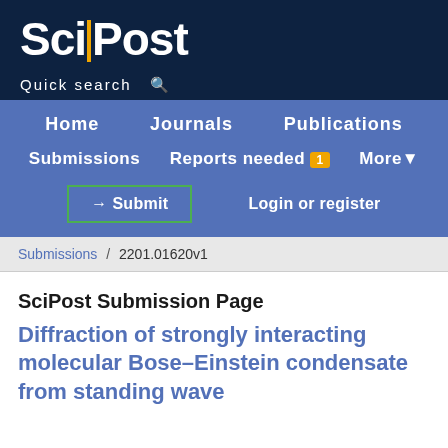[Figure (logo): SciPost logo — white bold text with vertical orange bar between Sci and Post on dark navy background]
Quick search 🔍
Home   Journals   Publications   Submissions   Reports needed 1   More ▾   → Submit   Login or register
Submissions / 2201.01620v1
SciPost Submission Page
Diffraction of strongly interacting molecular Bose–Einstein condensate from standing wave